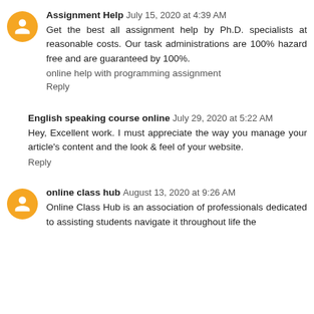Assignment Help  July 15, 2020 at 4:39 AM
Get the best all assignment help by Ph.D. specialists at reasonable costs. Our task administrations are 100% hazard free and are guaranteed by 100%.
online help with programming assignment
Reply
English speaking course online  July 29, 2020 at 5:22 AM
Hey, Excellent work. I must appreciate the way you manage your article's content and the look & feel of your website.
Reply
online class hub  August 13, 2020 at 9:26 AM
Online Class Hub is an association of professionals dedicated to assisting students navigate it throughout life the...